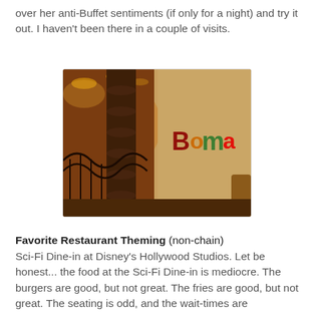over her anti-Buffet sentiments (if only for a night) and try it out. I haven't been there in a couple of visits.
[Figure (photo): Interior photo of Boma restaurant at Disney's Animal Kingdom Lodge, showing wooden pillars, decorative ironwork railing, warm amber lighting, and the colorful Boma logo sign on a textured wall.]
Favorite Restaurant Theming (non-chain)
Sci-Fi Dine-in at Disney's Hollywood Studios. Let be honest... the food at the Sci-Fi Dine-in is mediocre. The burgers are good, but not great. The fries are good, but not great. The seating is odd, and the wait-times are legendarily bad. BUT... that doesn't take away from one of the coolest